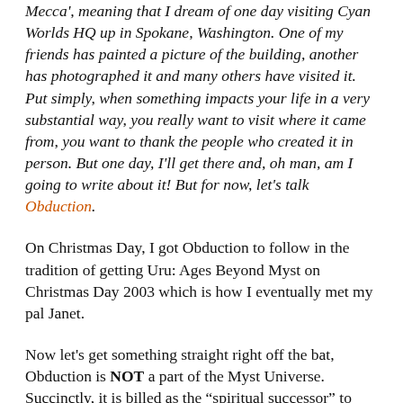Mecca', meaning that I dream of one day visiting Cyan Worlds HQ up in Spokane, Washington. One of my friends has painted a picture of the building, another has photographed it and many others have visited it. Put simply, when something impacts your life in a very substantial way, you really want to visit where it came from, you want to thank the people who created it in person. But one day, I'll get there and, oh man, am I going to write about it! But for now, let's talk Obduction.
On Christmas Day, I got Obduction to follow in the tradition of getting Uru: Ages Beyond Myst on Christmas Day 2003 which is how I eventually met my pal Janet.
Now let's get something straight right off the bat, Obduction is NOT a part of the Myst Universe. Succinctly, it is billed as the “spiritual successor” to Myst. As someone who is an “avid” and die-hard Cyan fan, I will tell you that while Obduction might not be set in the Myst Universe, it still retains all of the hallmarks of Myst with Rand and Robyn's